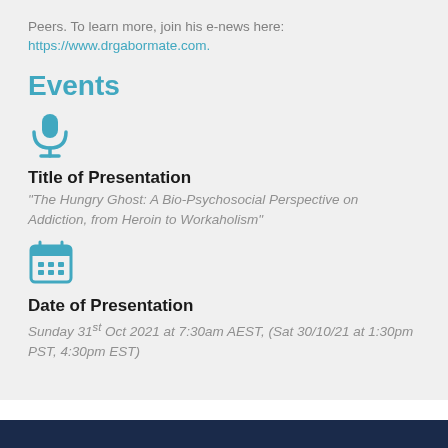Peers. To learn more, join his e-news here: https://www.drgabormate.com.
Events
[Figure (illustration): Microphone icon in teal/blue color]
Title of Presentation
"The Hungry Ghost: A Bio-Psychosocial Perspective on Addiction, from Heroin to Workaholism"
[Figure (illustration): Calendar icon in teal/blue color]
Date of Presentation
Sunday 31st Oct 2021 at 7:30am AEST, (Sat 30/10/21 at 1:30pm PST, 4:30pm EST)